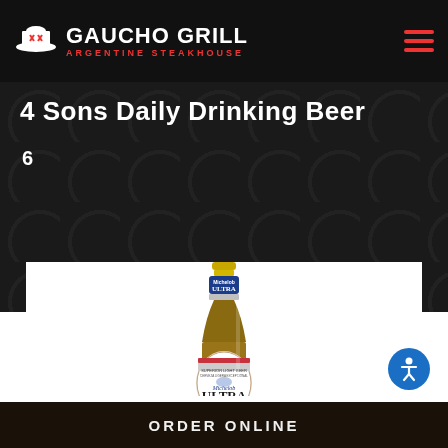GAUCHO GRILL ARGENTINE STEAKHOUSE
4 Sons Daily Drinking Beer
6
[Figure (photo): Michelob ULTRA beer bottle, full bottle with label clearly visible, on white background]
ORDER ONLINE